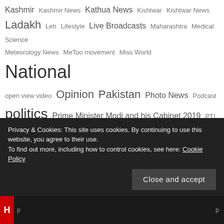Kashmir Kashmir News Kathua News Kishtwar Kishtwar News Ladakh Leh Lifestyle Live Broadcasts Maharashtra Medical Science Meteorology News MeToo movement Miss World National open view video Opinion Pakistan Photo News Podcast politics Prime Minister Modi and his Cabinet 2019 PTI Interview with Former Prime Minister Dr. Manmohan Singh Rafale Deal Rafale Politics Rajouri Religion Royal Family Samba News Science Sexual Harasment News Social media South Asia Space Space News Sports Srianagar News Srinagar supreme court Technology The College of Nursing Army Hospital The Open View's Live Broadcasts Top International News Top News Top Stories Top World News...
Privacy & Cookies: This site uses cookies. By continuing to use this website, you agree to their use. To find out more, including how to control cookies, see here: Cookie Policy
Close and accept